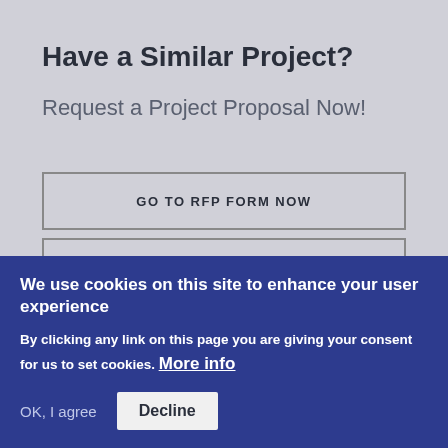Have a Similar Project?
Request a Project Proposal Now!
GO TO RFP FORM NOW
SPEAK WITH A PROJECT LEAD
We use cookies on this site to enhance your user experience
By clicking any link on this page you are giving your consent for us to set cookies. More info
OK, I agree
Decline